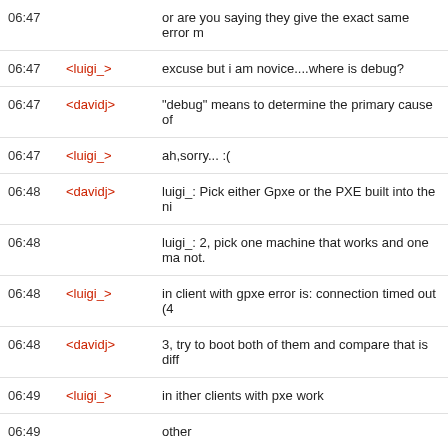| Time | Nick | Message |
| --- | --- | --- |
| 06:47 |  | or are you saying they give the exact same error m |
| 06:47 | <luigi_> | excuse but i am novice....where is debug? |
| 06:47 | <davidj> | "debug" means to determine the primary cause of |
| 06:47 | <luigi_> | ah,sorry... :( |
| 06:48 | <davidj> | luigi_: Pick either Gpxe or the PXE built into the ni |
| 06:48 |  | luigi_: 2, pick one machine that works and one ma not. |
| 06:48 | <luigi_> | in client with gpxe error is: connection timed out (4 |
| 06:48 | <davidj> | 3, try to boot both of them and compare that is diff |
| 06:49 | <luigi_> | in ither clients with pxe work |
| 06:49 |  | other |
| 06:49 | <Appiah> | then you should ask in #etherboot |
| 06:49 | <davidj> | luigi_: Do you mean that both machines work if yo |